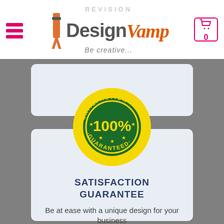[Figure (logo): DesignVamp logo with hamburger menu and cart icon in white header bar]
[Figure (other): Light blue-grey rounded card placeholder at top]
[Figure (illustration): Yellow and green satisfaction guarantee badge/seal showing 100% with stars]
SATISFACTION GUARANTEE
Be at ease with a unique design for your business